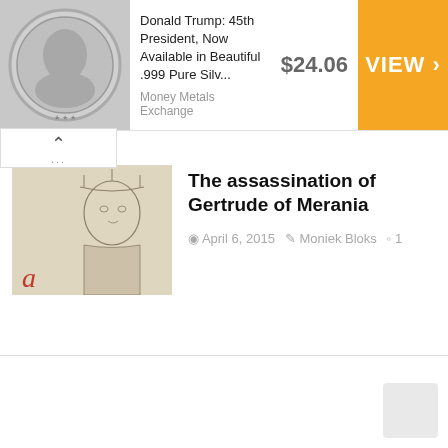[Figure (screenshot): Advertisement banner showing a Donald Trump silver coin, price $24.06, from Money Metals Exchange, with orange VIEW button]
Donald Trump: 45th President, Now Available in Beautiful .999 Pure Silv...
Money Metals Exchange
$24.06
VIEW >
[Figure (photo): Thumbnail image of a historical illustration of Gertrude of Merania, a medieval woman with a crown/headdress]
The assassination of Gertrude of Merania
April 6, 2015   Moniek Bloks   1